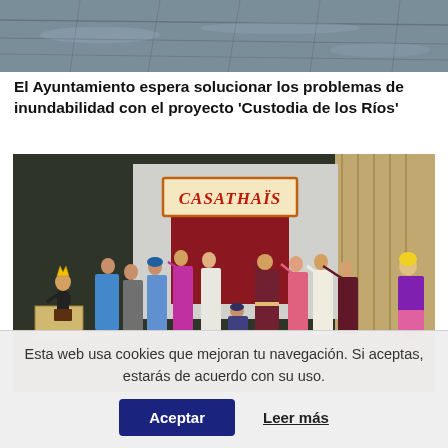[Figure (photo): Top portion of a photo showing what appears to be a flooded or wet urban area viewed from above, with dark water and grid-like structures visible.]
El Ayuntamiento espera solucionar los problemas de inundabilidad con el proyecto 'Custodia de los Ríos'
[Figure (photo): Theater performance on stage. Multiple performers in ancient Roman-style costumes stand on a stage. A sign reading 'CASATHAIS' is visible in the background. One performer stands on a pedestal on the left wearing a crown.]
Esta web usa cookies que mejoran tu navegación. Si aceptas, estarás de acuerdo con su uso.
Aceptar    Leer más